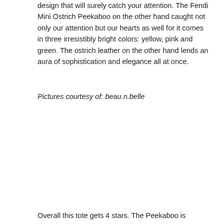design that will surely catch your attention. The Fendi Mini Ostrich Peekaboo on the other hand caught not only our attention but our hearts as well for it comes in three irresistibly bright colors: yellow, pink and green. The ostrich leather on the other hand lends an aura of sophistication and elegance all at once.
Pictures courtesy of: beau.n.belle
Overall this tote gets 4 stars. The Peekaboo is